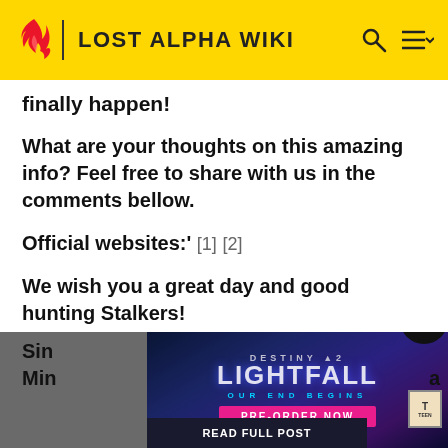LOST ALPHA WIKI
finally happen!
What are your thoughts on this amazing info? Feel free to share with us in the comments bellow.
Official websites:' [1] [2]
We wish you a great day and good hunting Stalkers!
Sin...
Min...a
[Figure (screenshot): Destiny 2 Lightfall advertisement banner with 'OUR END BEGINS' subtitle and 'PRE-ORDER NOW' pink button]
READ FULL POST